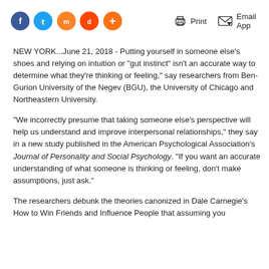[Figure (other): Social sharing buttons row: Facebook (dark blue), Twitter (blue), Mix (orange), Reddit (red-orange), Plus (orange). Print and Email App action buttons on the right.]
NEW YORK...June 21, 2018 - Putting yourself in someone else's shoes and relying on intuition or "gut instinct" isn't an accurate way to determine what they're thinking or feeling," say researchers from Ben-Gurion University of the Negev (BGU), the University of Chicago and Northeastern University.
"We incorrectly presume that taking someone else's perspective will help us understand and improve interpersonal relationships," they say in a new study published in the American Psychological Association's Journal of Personality and Social Psychology. "If you want an accurate understanding of what someone is thinking or feeling, don't make assumptions, just ask."
The researchers debunk the theories canonized in Dale Carnegie's How to Win Friends and Influence People that assuming you